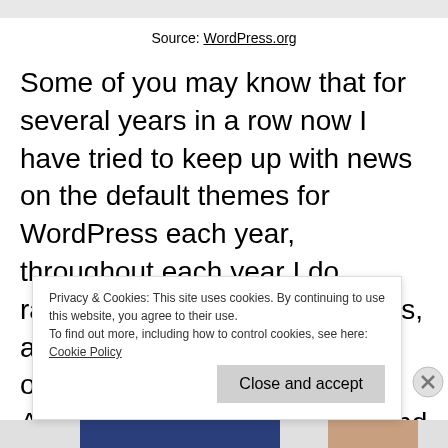Source: WordPress.org
Some of you may know that for several years in a row now I have tried to keep up with news on the default themes for WordPress each year, throughout each year I do random web (internet) searches, and I search through various official and unofficial Automattic/WordPress blogs and websites
Privacy & Cookies: This site uses cookies. By continuing to use this website, you agree to their use.
To find out more, including how to control cookies, see here: Cookie Policy
Close and accept